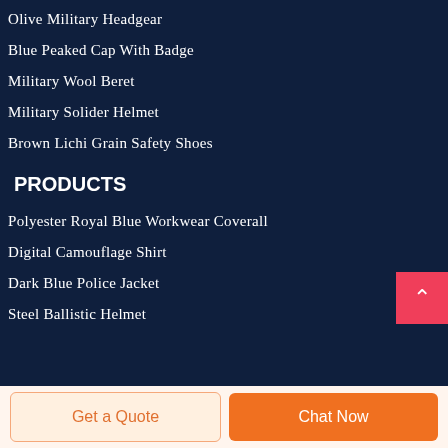Olive Military Headgear
Blue Peaked Cap With Badge
Military Wool Beret
Military Solider Helmet
Brown Lichi Grain Safety Shoes
PRODUCTS
Polyester Royal Blue Workwear Coverall
Digital Camouflage Shirt
Dark Blue Police Jacket
Steel Ballistic Helmet
Get a Quote
Chat Now